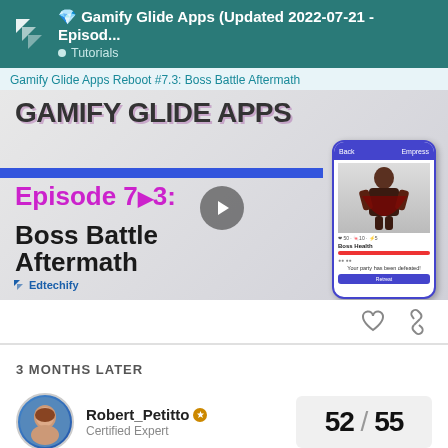Gamify Glide Apps (Updated 2022-07-21 - Episod... • Tutorials
Gamify Glide Apps Reboot #7.3: Boss Battle Aftermath
[Figure (screenshot): Thumbnail for video 'Gamify Glide Apps Episode 7.3: Boss Battle Aftermath' by Edtechify, showing large bold text and a phone mockup with a boss battle screen]
3 MONTHS LATER
Robert_Petitto Certified Expert  52 / 55